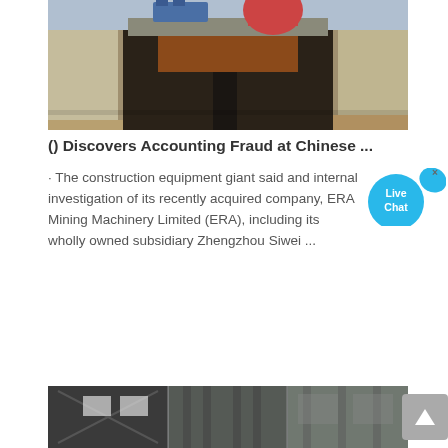[Figure (photo): Construction or mining machinery (crushers/equipment) mounted on concrete structure with wooden/concrete walls and dark interior, photographed from front]
() Discovers Accounting Fraud at Chinese ...
· The construction equipment giant said and internal investigation of its recently acquired company, ERA Mining Machinery Limited (ERA), including its wholly owned subsidiary Zhengzhou Siwei ...
[Figure (photo): Industrial building interior showing large structural steel beams and columns in a warehouse or factory setting]